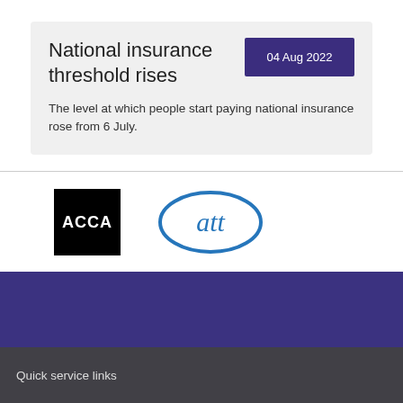National insurance threshold rises
04 Aug 2022
The level at which people start paying national insurance rose from 6 July.
[Figure (logo): ACCA logo — white text on black square background]
[Figure (logo): ATT logo — blue ellipse with att text in lowercase]
Quick service links